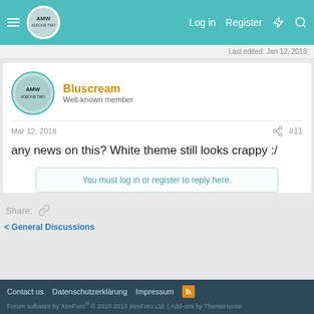Log in  Register
Last edited: Jan 12, 2018
Bluscream
Well-known member
Mar 12, 2018  #11
any news on this? White theme still looks crappy :/
You must log in or register to reply here.
Share:
< General Discussions
Contact us  Datenschutzerklärung  Impressum
Forum software by XenForo® © 2010-2019 XenForo Ltd. | Add-ons by ThemeHouse